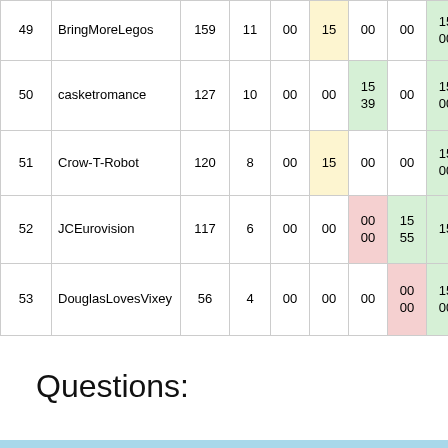| # | Name | Score | Wins | Col1 | Col2 | Col3 | Col4 | Col5 | Col6 |
| --- | --- | --- | --- | --- | --- | --- | --- | --- | --- |
| 49 | BringMoreLegos | 159 | 11 | 00 | 15 | 00 | 00 | 15 00 | 0 |
| 50 | casketromance | 127 | 10 | 00 | 00 | 15 39 | 00 | 15 00 | 0 |
| 51 | Crow-T-Robot | 120 | 8 | 00 | 15 | 00 | 00 | 15 00 | 0 |
| 52 | JCEurovision | 117 | 6 | 00 | 00 | 00 00 | 15 55 | 15 | 1 |
| 53 | DouglasLovesVixey | 56 | 4 | 00 | 00 | 00 | 00 00 | 15 00 | 0 |
| 54 | ntndeacon | 47 | 2 | 00 | 00 | 15 | 00 | 15 00 | 0 |
| 55 | Mudrak | 30 | 1 | 00 00 | 00 | 00 | 00 00 | 15 00 | 0 |
Questions: